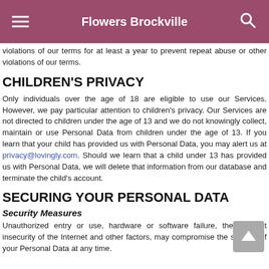Flowers Brockville
violations of our terms for at least a year to prevent repeat abuse or other violations of our terms.
CHILDREN'S PRIVACY
Only individuals over the age of 18 are eligible to use our Services. However, we pay particular attention to children's privacy. Our Services are not directed to children under the age of 13 and we do not knowingly collect, maintain or use Personal Data from children under the age of 13. If you learn that your child has provided us with Personal Data, you may alert us at privacy@lovingly.com. Should we learn that a child under 13 has provided us with Personal Data, we will delete that information from our database and terminate the child's account.
SECURING YOUR PERSONAL DATA
Security Measures
Unauthorized entry or use, hardware or software failure, the inherent insecurity of the Internet and other factors, may compromise the security of your Personal Data at any time.